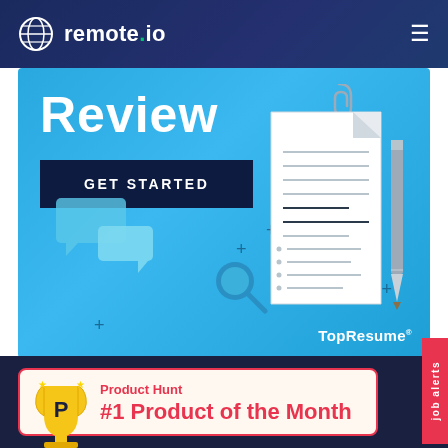remote.io
[Figure (illustration): TopResume banner with 'Review' heading, GET STARTED button, chat bubbles, magnifying glass, document with pencil illustration, and plus decorative elements on blue gradient background]
Product Hunt
#1 Product of the Month